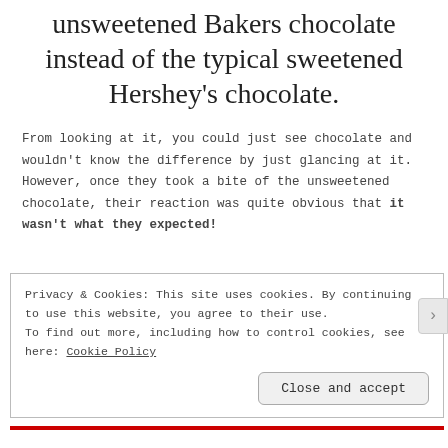unsweetened Bakers chocolate instead of the typical sweetened Hershey's chocolate.
From looking at it, you could just see chocolate and wouldn't know the difference by just glancing at it. However, once they took a bite of the unsweetened chocolate, their reaction was quite obvious that it wasn't what they expected!
Privacy & Cookies: This site uses cookies. By continuing to use this website, you agree to their use. To find out more, including how to control cookies, see here: Cookie Policy
Close and accept